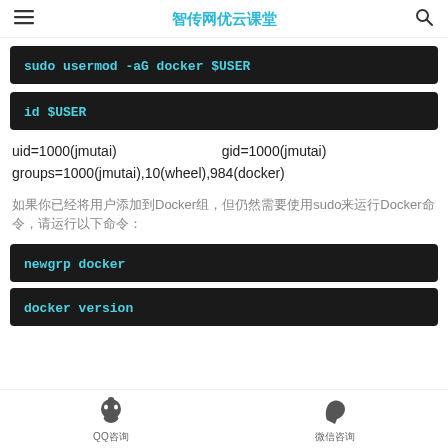智传网优云课堂
[Figure (screenshot): Code block showing: sudo usermod -aG docker $USER]
[Figure (screenshot): Code block showing: id $USER]
uid=1000(jmutai)    gid=1000(jmutai)
groups=1000(jmutai),10(wheel),984(docker)
如果你已经将用户添加到Docker组，但仍然需要使用sudo来运行Docker命令，请运行以下命令：
[Figure (screenshot): Code block showing: newgrp docker]
[Figure (screenshot): Code block showing: docker version]
QQ咨询  微信咨询